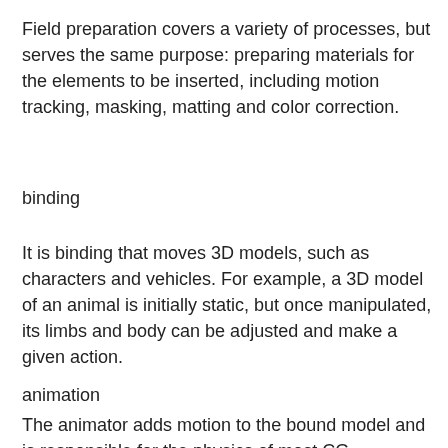Field preparation covers a variety of processes, but serves the same purpose: preparing materials for the elements to be inserted, including motion tracking, masking, matting and color correction.
binding
It is binding that moves 3D models, such as characters and vehicles. For example, a 3D model of an animal is initially static, but once manipulated, its limbs and body can be adjusted and make a given action.
animation
The animator adds motion to the bound model and is responsible for the physics of most CG. Animators often test